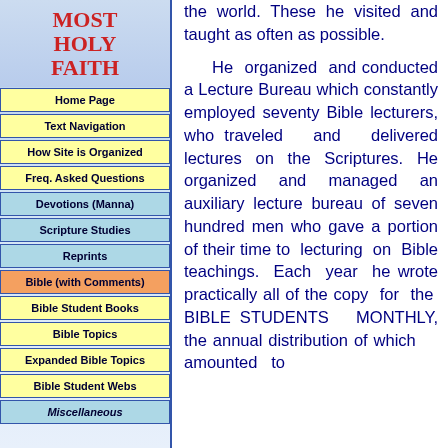MOST HOLY FAITH
Home Page
Text Navigation
How Site is Organized
Freq. Asked Questions
Devotions (Manna)
Scripture Studies
Reprints
Bible (with Comments)
Bible Student Books
Bible Topics
Expanded Bible Topics
Bible Student Webs
Miscellaneous
the world. These he visited and taught as often as possible.

He organized and conducted a Lecture Bureau which constantly employed seventy Bible lecturers, who traveled and delivered lectures on the Scriptures. He organized and managed an auxiliary lecture bureau of seven hundred men who gave a portion of their time to lecturing on Bible teachings. Each year he wrote practically all of the copy for the BIBLE STUDENTS MONTHLY, the annual distribution of which amounted to